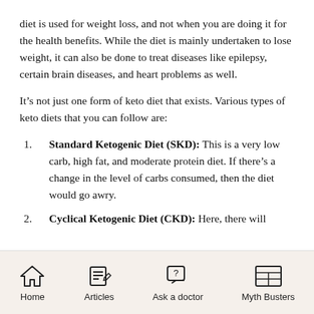diet is used for weight loss, and not when you are doing it for the health benefits. While the diet is mainly undertaken to lose weight, it can also be done to treat diseases like epilepsy, certain brain diseases, and heart problems as well.
It’s not just one form of keto diet that exists. Various types of keto diets that you can follow are:
Standard Ketogenic Diet (SKD): This is a very low carb, high fat, and moderate protein diet. If there’s a change in the level of carbs consumed, then the diet would go awry.
Cyclical Ketogenic Diet (CKD): Here, there will
Home | Articles | Ask a doctor | Myth Busters